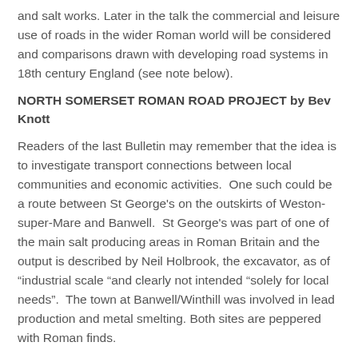and salt works. Later in the talk the commercial and leisure use of roads in the wider Roman world will be considered and comparisons drawn with developing road systems in 18th century England (see note below).
NORTH SOMERSET ROMAN ROAD PROJECT by Bev Knott
Readers of the last Bulletin may remember that the idea is to investigate transport connections between local communities and economic activities.  One such could be a route between St George's on the outskirts of Weston-super-Mare and Banwell.  St George's was part of one of the main salt producing areas in Roman Britain and the output is described by Neil Holbrook, the excavator, as of “industrial scale “and clearly not intended “solely for local needs”.  The town at Banwell/Winthill was involved in lead production and metal smelting. Both sites are peppered with Roman finds.
The route between the two being examined proceeds from